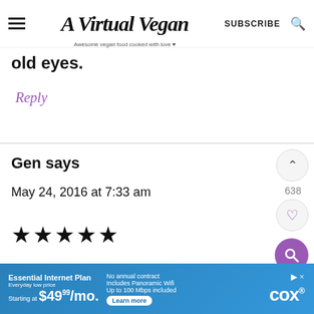A Virtual Vegan — Awesome vegan food cooked with love
old eyes.
Reply
Gen says
May 24, 2016 at 7:33 am
[Figure (other): Five filled star rating icons]
[Figure (other): Cox internet advertisement banner: Essential Internet Plan, Everyday low price, Starting at $49.99/mo. No annual contract, Includes Panoramic Wifi, Up to 100 Mbps included. Learn more. Cox logo.]